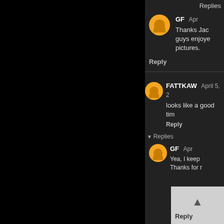Replies
GF  Apr
Thanks Jack guys enjoyed pictures.
Reply
FATTKAW  April 5, 2
looks like a good tim
Reply
Replies
GF  Apr
Yea, I keep  Thanks for r
Reply